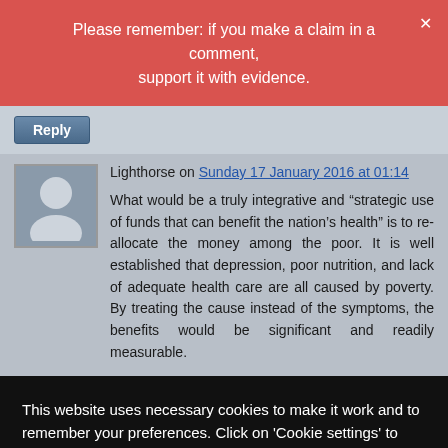Please remember: if you make a claim in a comment, support it with evidence.
Reply
Lighthorse on Sunday 17 January 2016 at 01:14
What would be a truly integrative and “strategic use of funds that can benefit the nation's health” is to re-allocate the money among the poor. It is well established that depression, poor nutrition, and lack of adequate health care are all caused by poverty. By treating the cause instead of the symptoms, the benefits would be significant and readily measurable.
This website uses necessary cookies to make it work and to remember your preferences. Click on 'Cookie settings' to control your consent for other cookies or click on 'Accept all' to consent to the use of all cookies. By continuing to browse this website you are agreeing to our Privacy policy.
Accept all
Cookie settings
Privacy policy